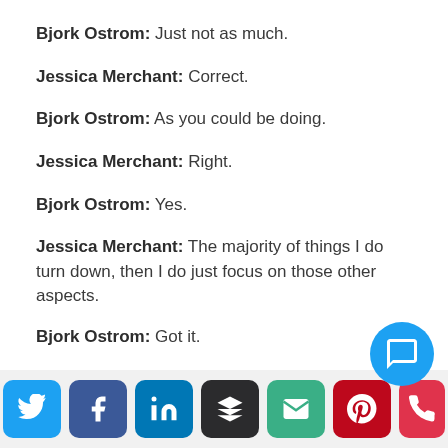Bjork Ostrom: Just not as much.
Jessica Merchant: Correct.
Bjork Ostrom: As you could be doing.
Jessica Merchant: Right.
Bjork Ostrom: Yes.
Jessica Merchant: The majority of things I do turn down, then I do just focus on those other aspects.
Bjork Ostrom: Got it.
[Figure (other): Social sharing icons: Twitter, Facebook, LinkedIn, Buffer, Email, Pinterest, Phone, and a chat bubble button]